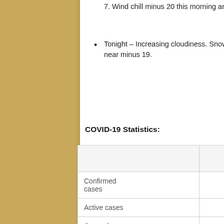7. Wind chill minus 20 this morning and minus 11 this afternoon. UV index 3 or moderate.
Tonight – Increasing cloudiness. Snow beginning overnight. Wind up to 15 km/h. Low minus 15. Wind chill near minus 19.
COVID-19 Statistics:
|  | Current | Previous | Change from previous rep |
| --- | --- | --- | --- |
| Confirmed cases | 5,334 | 5,284 |  |
| Active cases | 615(3) | 620(3) |  |
| Currently hospitalized | 10 | 12 |  |
| Resolved | 4,719 | 4,664 |  |
| Deceased | 34 | 34 |  |